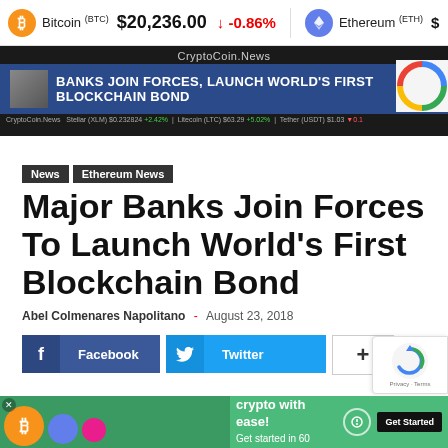Bitcoin (BTC) $20,236.00 ↓ -0.86%   Ethereum (ETH) $
[Figure (screenshot): CryptoCoin.News website banner with headline: BANKS JOIN FORCES, LAUNCH WORLD'S FIRST BLOCKCHAIN BOND]
News
Ethereum News
Major Banks Join Forces To Launch World's First Blockchain Bond
Abel Colmenares Napolitano  -  August 23, 2018
[Figure (infographic): Social share buttons: Facebook, Twitter, and plus/more button]
[Figure (infographic): Green advertisement banner: Instantly trade crypto with ease! Get started in 60 seconds. Get Started button.]